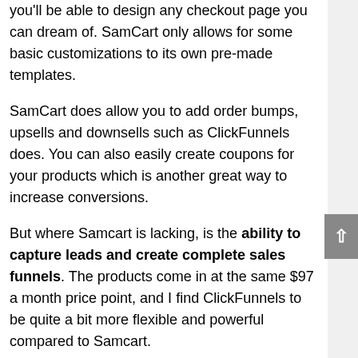you'll be able to design any checkout page you can dream of. SamCart only allows for some basic customizations to its own pre-made templates.
SamCart does allow you to add order bumps, upsells and downsells such as ClickFunnels does. You can also easily create coupons for your products which is another great way to increase conversions.
But where Samcart is lacking, is the ability to capture leads and create complete sales funnels. The products come in at the same $97 a month price point, and I find ClickFunnels to be quite a bit more flexible and powerful compared to Samcart.